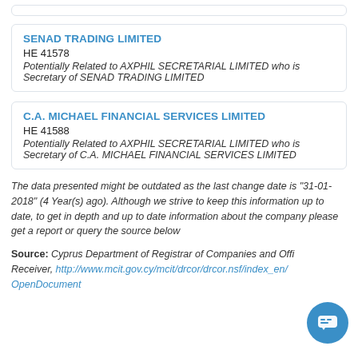SENAD TRADING LIMITED
HE 41578
Potentially Related to AXPHIL SECRETARIAL LIMITED who is Secretary of SENAD TRADING LIMITED
C.A. MICHAEL FINANCIAL SERVICES LIMITED
HE 41588
Potentially Related to AXPHIL SECRETARIAL LIMITED who is Secretary of C.A. MICHAEL FINANCIAL SERVICES LIMITED
The data presented might be outdated as the last change date is "31-01-2018" (4 Year(s) ago). Although we strive to keep this information up to date, to get in depth and up to date information about the company please get a report or query the source below
Source: Cyprus Department of Registrar of Companies and Official Receiver, http://www.mcit.gov.cy/mcit/drcor/drcor.nsf/index_en/OpenDocument